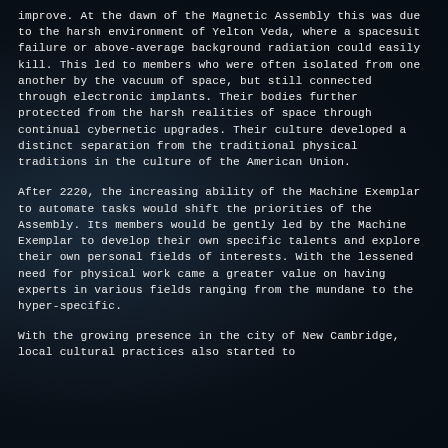improve. At the dawn of the Magnetic Assembly this was due to the harsh environment of Yelton Veda, where a spacesuit failure or above-average background radiation could easily kill. This led to members who were often isolated from one another by the vacuum of space, but still connected through electronic implants. Their bodies further protected from the harsh realities of space through continual cybernetic upgrades. Their culture developed a distinct separation from the traditional physical traditions in the culture of the American Union.
After 2220, the increasing ability of the Machine Exemplar to automate tasks would shift the priorities of the Assembly. Its members would be gently led by the Machine Exemplar to develop their own specific talents and explore their own personal fields of interests. With the lessened need for physical work came a greater value on having experts in various fields ranging from the mundane to the hyper-specific.
With the growing presence in the city of New Cambridge, local cultural practices also started to